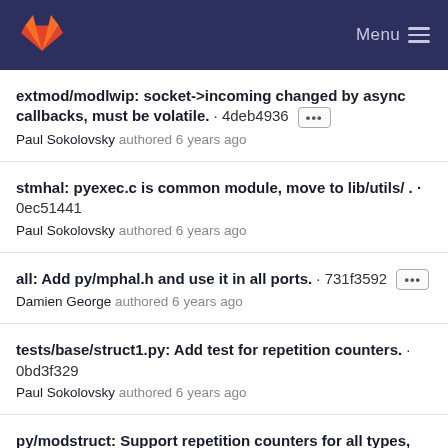GitLab — Menu
extmod/modlwip: socket->incoming changed by async callbacks, must be volatile. · 4deb4936 [...] Paul Sokolovsky authored 6 years ago
stmhal: pyexec.c is common module, move to lib/utils/ . · 0ec51441 Paul Sokolovsky authored 6 years ago
all: Add py/mphal.h and use it in all ports. · 731f3592 [...] Damien George authored 6 years ago
tests/base/struct1.py: Add test for repetition counters. · 0bd3f329 Paul Sokolovsky authored 6 years ago
py/modstruct: Support repetition counters for all types, not just string. · 2b080cf5 [...] Paul Sokolovsky authored 6 years ago